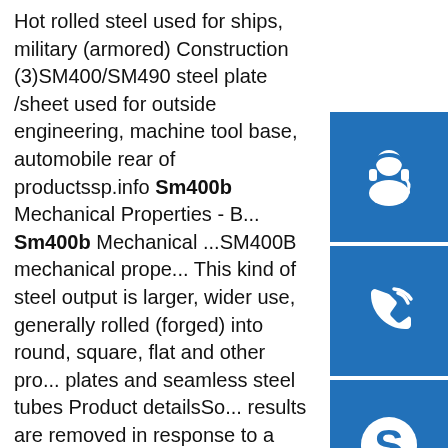Hot rolled steel used for ships, military (armored) Construction (3)SM400/SM490 steel plate /sheet used for outside engineering, machine tool base, automobile rear of productssp.info Sm400b Mechanical Properties - B... Sm400b Mechanical ...SM400B mechanical prope... This kind of steel output is larger, wider use, generally rolled (forged) into round, square, flat and other pro... plates and seamless steel tubes Product detailsSo... results are removed in response to a notice of local... requirement. For more information, please see here.sp.infoSM400B low alloy steel plate mechanic... properties - BEBON ...SM400B low alloy steel plate mechanical properties SM400B is a kind of carbon and low alloy steel that under the JIS G3106-2004 standard. SM400B low alloy steel plate is often used in the engineering and construction industry.sp.info JIS G3106 SM400A/B/C H Beam - Katalor Steel SheetJIS G3106 SM400A/B/C H Beam are useful for many different construction purposes, including supporting floor or roof
[Figure (illustration): Three blue square buttons with white icons: headset/customer support icon, phone/call icon, and Skype logo icon, arranged vertically on the right side of the page.]